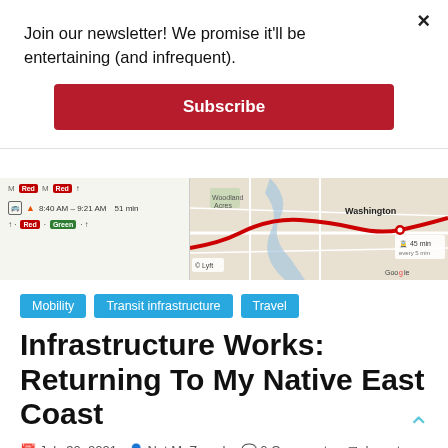Join our newsletter! We promise it'll be entertaining (and infrequent).
Subscribe
[Figure (screenshot): Screenshot of a transit directions panel showing Metro and bus options with a Google Map on the right showing Washington DC area with a red route line highlighted.]
Mobility
Transit infrastructure
Travel
Infrastructure Works: Returning To My Native East Coast
July 30, 2021   Nat M. Zorach   0 Comments   dc metro, lyft, transit, Uber
My temporary DC digs are a 40-minute commute from the